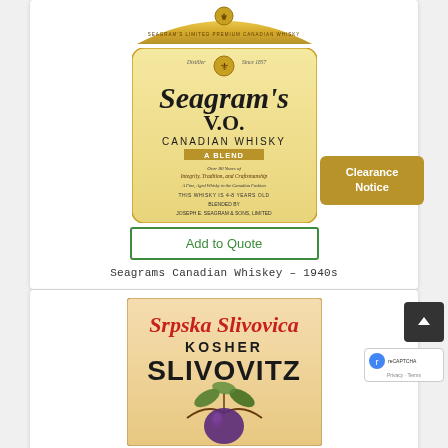[Figure (illustration): Seagram's V.O. Canadian Whisky bottle label from 1940s — gold top banner with crown emblem and text 'SEAGRAM'S LIMITED PREMIUM CANADIAN WHISKY', plus cream-colored main label with 'Seagram's V.O. CANADIAN WHISKY A BLEND' in ornate typography. A golden 'Clearance Notice' button appears to the right. An 'Add to Quote' button in green outline is below the label.]
Seagrams Canadian Whiskey – 1940s
[Figure (illustration): Srpska Slivovica Kosher SLIVOVITZ label — cream/peach background with red italic script 'Srpska Slivovica', bold black 'KOSHER', large bold black 'SLIVOVITZ', and a botanical illustration of a plum branch with leaves and fruit.]